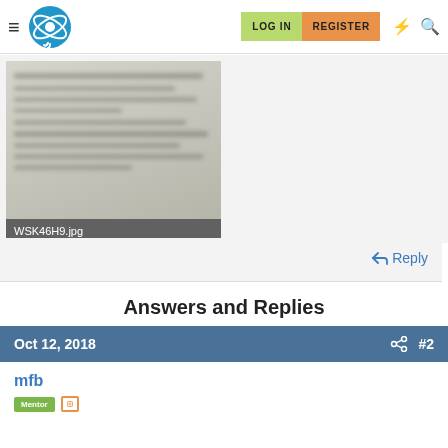LOG IN  REGISTER
[Figure (photo): Blurred thumbnail image of a document, with filename label 'WSK46H9.jpg' on a dark grey bar below]
← Reply
Answers and Replies
Oct 12, 2018  #2
mfb